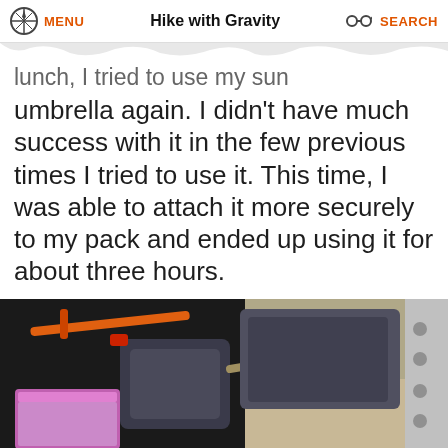MENU  Hike with Gravity  SEARCH
lunch, I tried to use my sun umbrella again. I didn't have much success with it in the few previous times I tried to use it. This time, I was able to attach it more securely to my pack and ended up using it for about three hours.
[Figure (photo): Photo of hiking pack with orange strap, dark grey bag, and purple/pink dry bag attached, seen from the side in an outdoor desert setting.]